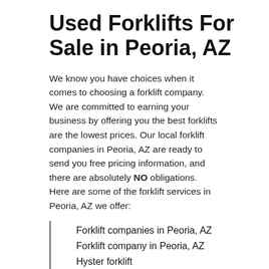Used Forklifts For Sale in Peoria, AZ
We know you have choices when it comes to choosing a forklift company. We are committed to earning your business by offering you the best forklifts are the lowest prices. Our local forklift companies in Peoria, AZ are ready to send you free pricing information, and there are absolutely NO obligations. Here are some of the forklift services in Peoria, AZ we offer:
Forklift companies in Peoria, AZ
Forklift company in Peoria, AZ
Hyster forklift
Doosan forklifts
Toyota forklifts
Fork lift companies in Peoria, AZ
Forklift rentals